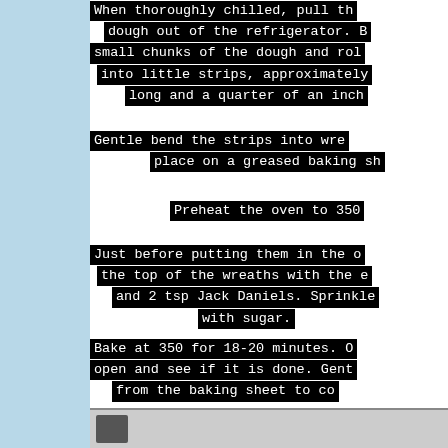When thoroughly chilled, pull the dough out of the refrigerator. Break small chunks of the dough and roll into little strips, approximately long and a quarter of an inch
Gentle bend the strips into wreaths place on a greased baking sh
Preheat the oven to 350
Just before putting them in the oven the top of the wreaths with the e and 2 tsp Jack Daniels. Sprinkle with sugar.
Bake at 350 for 18-20 minutes. open and see if it is done. Gent from the baking sheet to co
Gud være med deg!
[Figure (photo): Partial image at bottom of page, showing corner of a photograph]